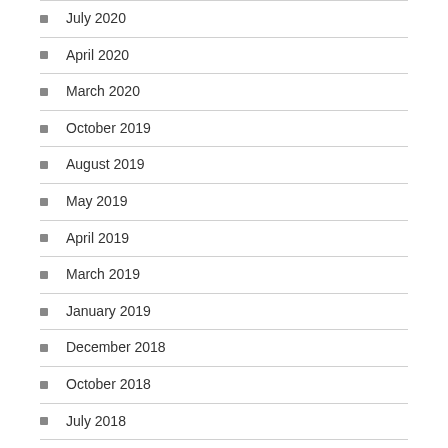July 2020
April 2020
March 2020
October 2019
August 2019
May 2019
April 2019
March 2019
January 2019
December 2018
October 2018
July 2018
June 2018
May 2018
February 2018